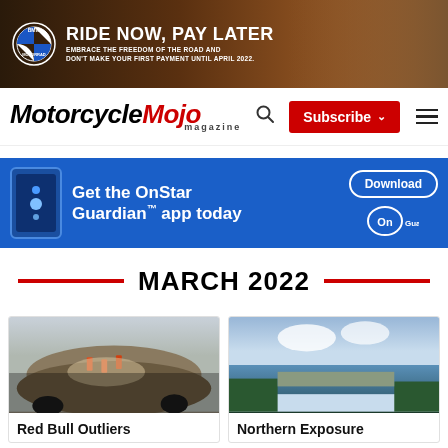[Figure (photo): BMW Motorrad advertisement banner: 'RIDE NOW, PAY LATER' with tagline and motorcycle image on dark road background]
[Figure (logo): Motorcycle Mojo Magazine logo with navigation bar including search icon, Subscribe button, and hamburger menu]
[Figure (photo): OnStar Guardian app advertisement banner on blue background with phone graphic, 'Get the OnStar Guardian app today', Download button, and OnStar logo]
MARCH 2022
[Figure (photo): Red Bull Outliers article thumbnail: dirt bike riders on rocky terrain with spectators in foreground]
Red Bull Outliers
[Figure (photo): Northern Exposure article thumbnail: aerial view of lake and town surrounded by trees and cloudy sky]
Northern Exposure